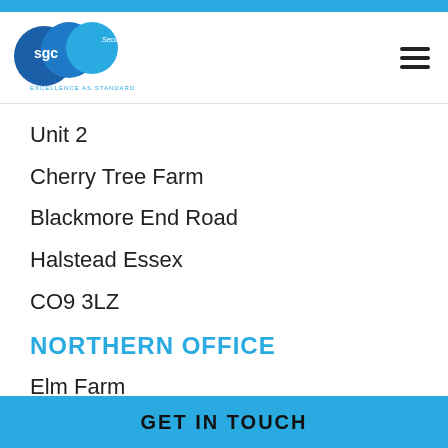[Figure (logo): SGC Security Services logo with three blue circles and tagline EXCELLENCE AS STANDARD]
Unit 2
Cherry Tree Farm
Blackmore End Road
Halstead Essex
CO9 3LZ
NORTHERN OFFICE
Elm Farm
Parkgate Road
GET IN TOUCH